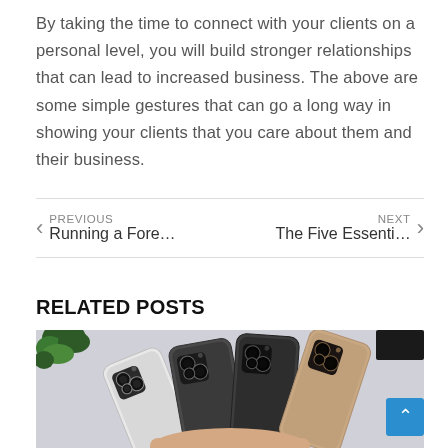By taking the time to connect with your clients on a personal level, you will build stronger relationships that can lead to increased business. The above are some simple gestures that can go a long way in showing your clients that you care about them and their business.
PREVIOUS  Running a Fore…    NEXT  The Five Essenti…
RELATED POSTS
[Figure (photo): Photo of four iPhones (iPhone 12 Pro or similar) arranged in a fan/spread layout, showing their backs with triple camera systems. Colors range from silver/white to space grey and gold. Held by a hand from below against a light grey background with a small green plant visible in the top left corner.]